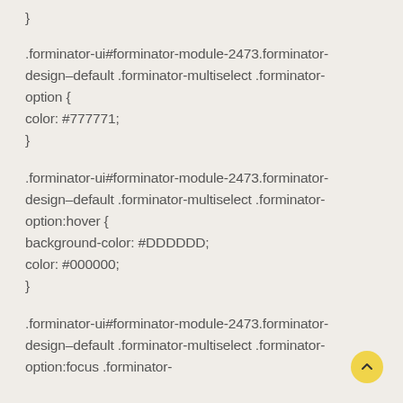}
.forminator-ui#forminator-module-2473.forminator-design–default .forminator-multiselect .forminator-option {
color: #777771;
}
.forminator-ui#forminator-module-2473.forminator-design–default .forminator-multiselect .forminator-option:hover {
background-color: #DDDDDD;
color: #000000;
}
.forminator-ui#forminator-module-2473.forminator-design–default .forminator-multiselect .forminator-option:focus .forminator-